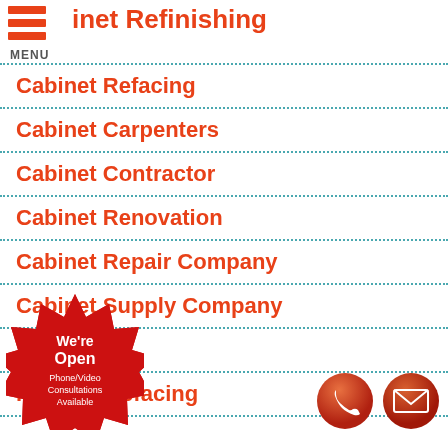inet Refinishing
Cabinet Refacing
Cabinet Carpenters
Cabinet Contractor
Cabinet Renovation
Cabinet Repair Company
Cabinet Supply Company
...binets
...abinet Refacing
[Figure (infographic): Red starburst badge with text: We're Open Phone/Video Consultations Available]
[Figure (infographic): Two circular orange/red icons: phone icon and envelope/email icon]